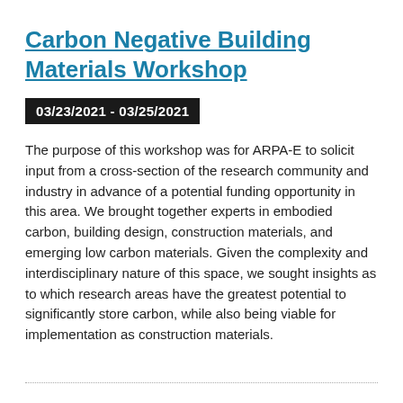Carbon Negative Building Materials Workshop
03/23/2021 - 03/25/2021
The purpose of this workshop was for ARPA-E to solicit input from a cross-section of the research community and industry in advance of a potential funding opportunity in this area. We brought together experts in embodied carbon, building design, construction materials, and emerging low carbon materials. Given the complexity and interdisciplinary nature of this space, we sought insights as to which research areas have the greatest potential to significantly store carbon, while also being viable for implementation as construction materials.